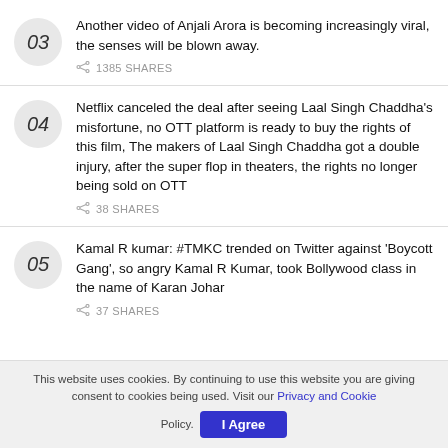03 Another video of Anjali Arora is becoming increasingly viral, the senses will be blown away. 1385 SHARES
04 Netflix canceled the deal after seeing Laal Singh Chaddha's misfortune, no OTT platform is ready to buy the rights of this film, The makers of Laal Singh Chaddha got a double injury, after the super flop in theaters, the rights no longer being sold on OTT 38 SHARES
05 Kamal R kumar: #TMKC trended on Twitter against 'Boycott Gang', so angry Kamal R Kumar, took Bollywood class in the name of Karan Johar 37 SHARES
This website uses cookies. By continuing to use this website you are giving consent to cookies being used. Visit our Privacy and Cookie Policy. I Agree